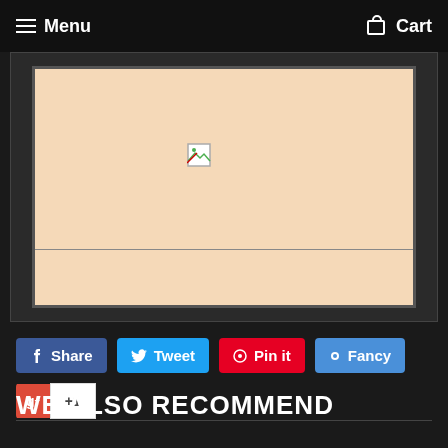Menu   Cart
[Figure (screenshot): Product image placeholder showing a broken/missing image icon on a light beige/cream framed background with a dark outer border]
Share
Tweet
Pin it
Fancy
g+ +1
WE ALSO RECOMMEND